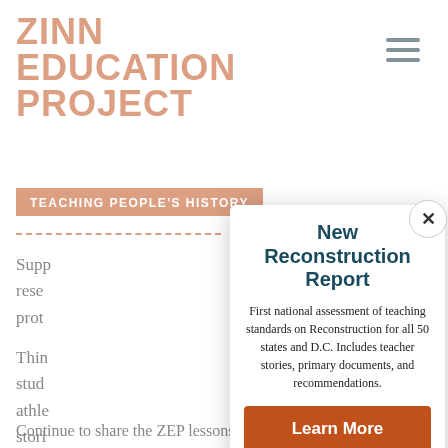[Figure (logo): Zinn Education Project logo — bold orange text reading ZINN EDUCATION PROJECT]
[Figure (other): Hamburger menu icon with three horizontal dark blue lines]
TEACHING PEOPLE'S HISTORY
Supp... rese... prot...
Thin... stud... athle... stori... that...
New Reconstruction Report
First national assessment of teaching standards on Reconstruction for all 50 states and D.C. Includes teacher stories, primary documents, and recommendations.
Learn More
Continue to share the ZEP lessons and